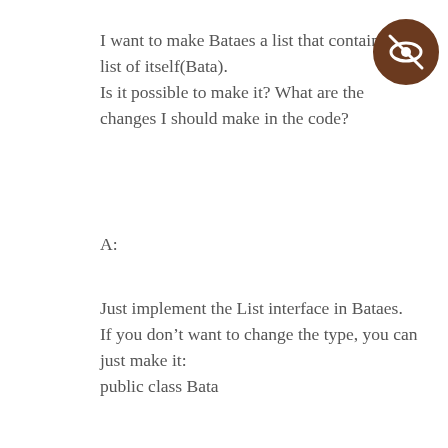I want to make Bataes a list that contain a list of itself(Bata).
Is it possible to make it? What are the changes I should make in the code?
[Figure (illustration): A dark brown circular icon badge with an eye icon crossed out (hidden/private indicator)]
A:
Just implement the List interface in Bataes.
If you don’t want to change the type, you can just make it:
public class Bata
[Figure (illustration): A grey rectangular scroll-to-top button with a white upward-pointing caret arrow]
What’s New In DCCExplorer?